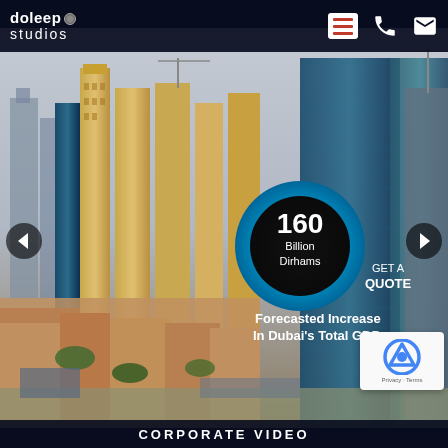doleep studios
[Figure (screenshot): Aerial view of Dubai skyline with skyscrapers and an infographic overlay showing '160 Billion Dirhams – Forecasted Increase In Dubai's Total GDP' inside a blue circle on a dark building facade.]
GET A QUOTE
160 Billion Dirhams
Forecasted Increase In Dubai's Total GDP
CORPORATE VIDEO